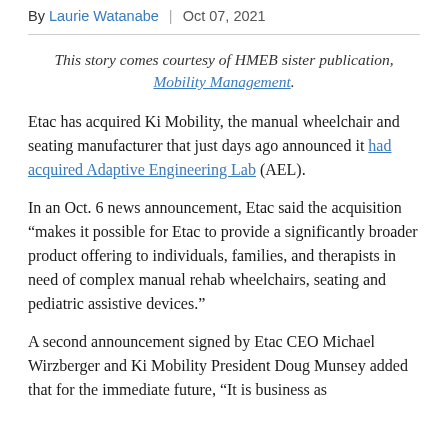By Laurie Watanabe | Oct 07, 2021
This story comes courtesy of HMEB sister publication, Mobility Management.
Etac has acquired Ki Mobility, the manual wheelchair and seating manufacturer that just days ago announced it had acquired Adaptive Engineering Lab (AEL).
In an Oct. 6 news announcement, Etac said the acquisition “makes it possible for Etac to provide a significantly broader product offering to individuals, families, and therapists in need of complex manual rehab wheelchairs, seating and pediatric assistive devices.”
A second announcement signed by Etac CEO Michael Wirzberger and Ki Mobility President Doug Munsey added that for the immediate future, “It is business as